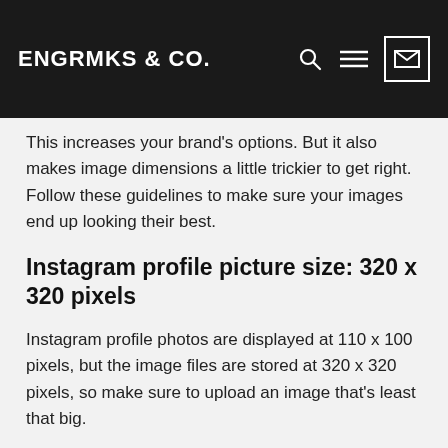ENGRMKS & CO.
This increases your brand’s options. But it also makes image dimensions a little trickier to get right. Follow these guidelines to make sure your images end up looking their best.
Instagram profile picture size: 320 x 320 pixels
Instagram profile photos are displayed at 110 x 100 pixels, but the image files are stored at 320 x 320 pixels, so make sure to upload an image that’s least that big.
Even though the dimensions are in a square format, Instagram profile photos are displayed as a circle. Make sure any elements you want to